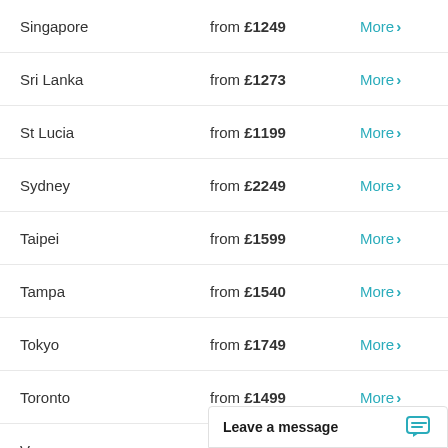Singapore — from £1249 — More
Sri Lanka — from £1273 — More
St Lucia — from £1199 — More
Sydney — from £2249 — More
Taipei — from £1599 — More
Tampa — from £1540 — More
Tokyo — from £1749 — More
Toronto — from £1499 — More
Vancouver — from £1695 — More
Washington, D.C. — from £1273 — More
Wellington
Leave a message